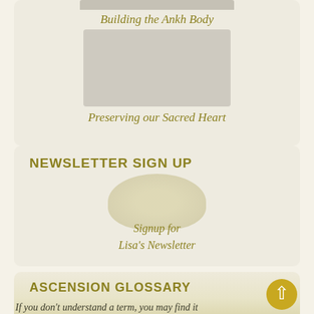[Figure (photo): Faded/greyed image at top of card]
Building the Ankh Body
[Figure (photo): Photo of a woman, semi-transparent overlay]
Preserving our Sacred Heart
NEWSLETTER SIGN UP
[Figure (illustration): Decorative golden/yellow circular image in newsletter section]
Signup for
Lisa's Newsletter
ASCENSION GLOSSARY
If you don't understand a term, you may find it